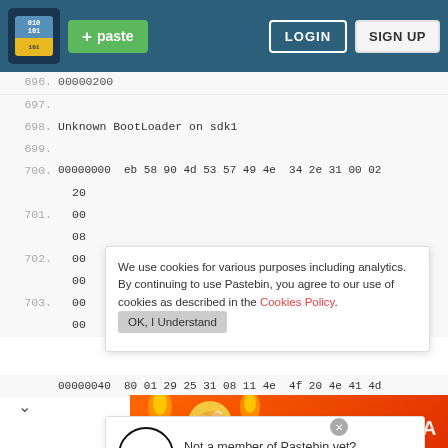Pastebin navbar with logo, + paste button, LOGIN and SIGN UP buttons
696. 00000200
697.
698. Unknown BootLoader on sdk1
699.
700. 00000000  eb 58 90 4d 53 57 49 4e  34 2e 31 00 02
20
701.  00
08
702.  00
00
703.  00
00
703. 00000040  80 01 29 25 31 08 11 4e  4f 20 4e 41 4d
We use cookies for various purposes including analytics. By continuing to use Pastebin, you agree to our use of cookies as described in the Cookies Policy.  OK, I Understand
Not a member of Pastebin yet? Sign Up, it unlocks many cool features!
[Figure (screenshot): FAIL ad banner with cartoon character]